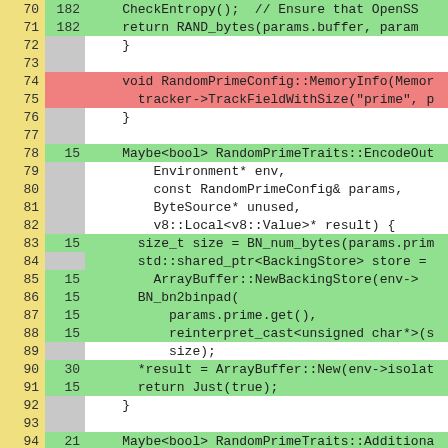[Figure (screenshot): Code coverage viewer showing C++ source code lines 70-96. Left column shows line numbers on yellow background, middle column shows hit counts on gray background, right column shows source code with green (covered), pink (uncovered), or white (non-executable) backgrounds.]